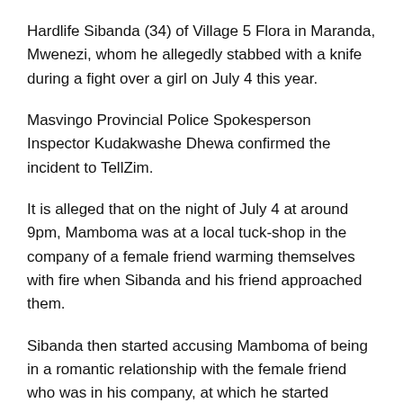Hardlife Sibanda (34) of Village 5 Flora in Maranda, Mwenezi, whom he allegedly stabbed with a knife during a fight over a girl on July 4 this year.
Masvingo Provincial Police Spokesperson Inspector Kudakwashe Dhewa confirmed the incident to TellZim.
It is alleged that on the night of July 4 at around 9pm, Mamboma was at a local tuck-shop in the company of a female friend warming themselves with fire when Sibanda and his friend approached them.
Sibanda then started accusing Mamboma of being in a romantic relationship with the female friend who was in his company, at which he started poking him in the face and beating him.